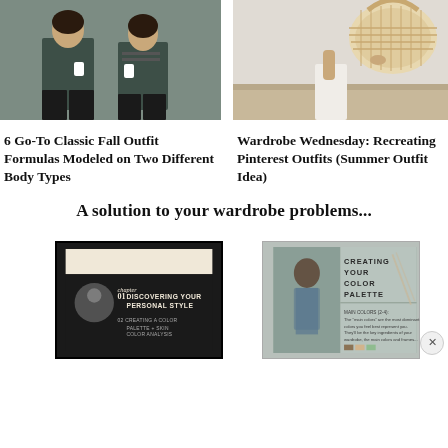[Figure (photo): Two women wearing matching dark green blazers standing together holding coffee cups]
[Figure (photo): Person in white pants holding a large woven straw basket bag]
6 Go-To Classic Fall Outfit Formulas Modeled on Two Different Body Types
Wardrobe Wednesday: Recreating Pinterest Outfits (Summer Outfit Idea)
A solution to your wardrobe problems...
[Figure (photo): Two overlapping ebook/digital guide covers about personal style and color palette creation. Front cover shows 'Creating Your Color Palette' with a woman in a denim jacket. Back cover shows 'Discovering Your Personal Style' chapter layout with 'Creating a Color Palette + Skin Color Analysis' text.]